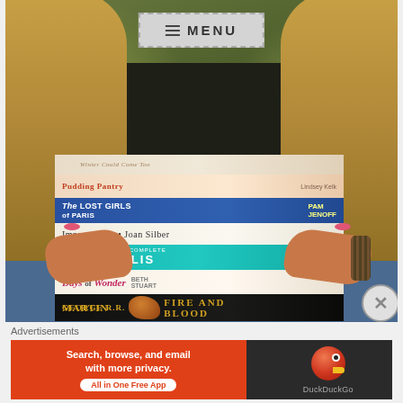[Figure (photo): A person with blonde hair wearing a dark shirt and jeans, sitting and holding a large stack of books. Visible book titles from top to bottom: an unreadable title, 'Pudding Pantry' by Lindsey Kelk, 'The Lost Girls of Paris' by Pam Jenoff, 'Improvement' by Joan Silber, 'The Complete Persepolis', 'Days of Wonder' by Beth Stuart, and 'George R.R. Martin: Fire and Blood'. A menu button with dashed border is overlaid at the top center.]
Advertisements
[Figure (screenshot): DuckDuckGo advertisement banner. Orange left section with text 'Search, browse, and email with more privacy. All in One Free App'. Dark right section with DuckDuckGo duck logo and 'DuckDuckGo' text.]